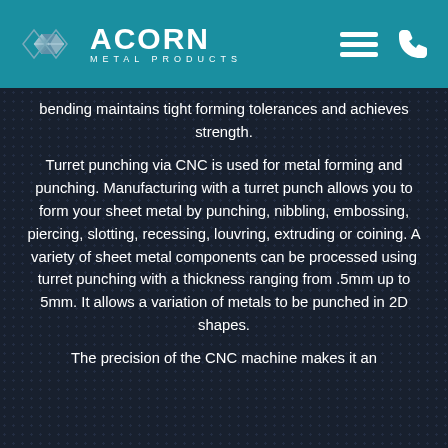ACORN METAL PRODUCTS
bending maintains tight forming tolerances and achieves strength.
Turret punching via CNC is used for metal forming and punching. Manufacturing with a turret punch allows you to form your sheet metal by punching, nibbling, embossing, piercing, slotting, recessing, louvring, extruding or coining. A variety of sheet metal components can be processed using turret punching with a thickness ranging from .5mm up to 5mm. It allows a variation of metals to be punched in 2D shapes.
The precision of the CNC machine makes it an